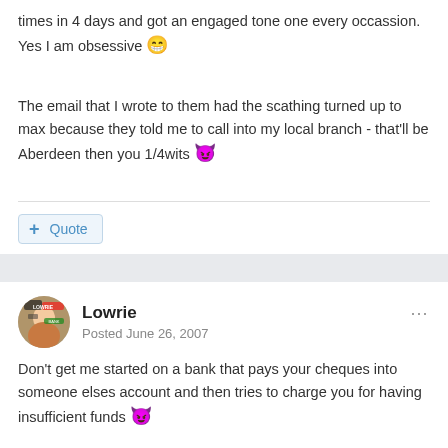times in 4 days and got an engaged tone one every occassion. Yes I am obsessive 😁
The email that I wrote to them had the scathing turned up to max because they told me to call into my local branch - that'll be Aberdeen then you 1/4wits 😈
+ Quote
Lowrie
Posted June 26, 2007
Don't get me started on a bank that pays your cheques into someone elses account and then tries to charge you for having insufficient funds 😈